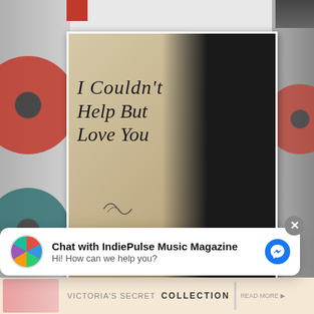[Figure (photo): Album cover for 'I Couldn't Help But Love You' by Karen Lawrence. Shows a woman with auburn hair looking down, wearing dark clothing, holding a guitar. Calligraphy text on a parchment-textured background reads the album title. The artist's name appears at the bottom in italic script.]
Chat with IndiePulse Music Magazine
Hi! How can we help you?
VICTORIA'S SECRET COLLECTION